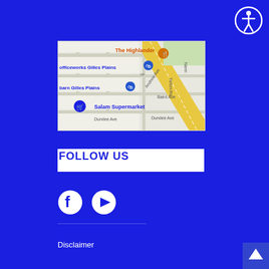[Figure (other): Accessibility icon button - circle with person figure]
[Figure (map): Google Maps showing Gilles Plains area with locations: The Highlander, Officeworks Gilles Plains, barn Gilles Plains, Salam Supermarket. Streets include Andrew Ave, Baird Ave, Dundee Ave, Yarton Rd, Narei. A diagonal road (likely Main North Road) runs through the map.]
FOLLOW US
[Figure (other): Facebook icon (circle with F logo) and YouTube icon (circle with play button triangle)]
Disclaimer
[Figure (other): Back to top arrow button at bottom right]